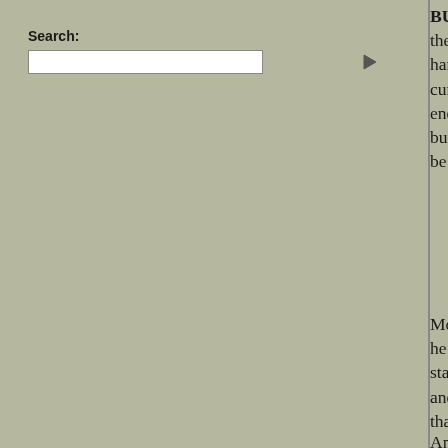Search:
BURKE and HARE theory is all but destroy organ, about the Mitre-square murder. It is theory is also weakened, and the story of a one man butchered and another man watch hand enormously strengthened. Crafty bloo from Berner-street to Aldgate, to find a fres cunning of all the murderer's resources - th motive need not trouble us now, except so East-end. It may be, as Dr. SAVAGE supp modern Thug or Sicarius, with a confused id a butcher who has been in a lunatic asylur religious mania - these are obviously class should be kept. Finally, there is the off- experimentalist abroad determined to make
More important is the discussion as to th knowledge of anatomy, it is probable that hi deed he would put on gloves. He must have were the work of one hand. As a further pr nowhere stays to wash his hands, he proba has special facilities - perhaps chemicals ar bloody hands and clothes. He must be inof murderous warnings of last week, woman suggested to us - that he may wear woman's
And now for the remedies. The police, of c rotten to the core, and it is a mildly farcica